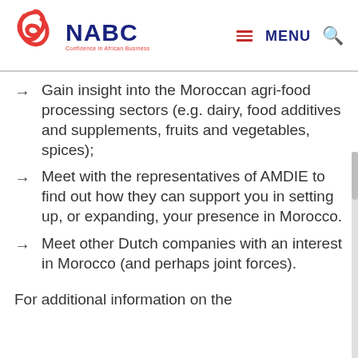NABC — Confidence in African Business
Gain insight into the Moroccan agri-food processing sectors (e.g. dairy, food additives and supplements, fruits and vegetables, spices);
Meet with the representatives of AMDIE to find out how they can support you in setting up, or expanding, your presence in Morocco.
Meet other Dutch companies with an interest in Morocco (and perhaps joint forces).
For additional information on the